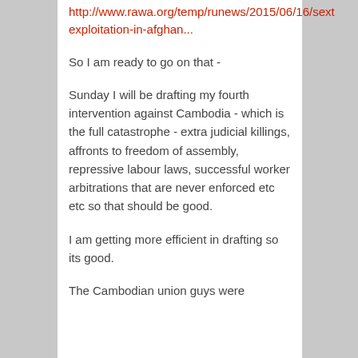http://www.rawa.org/temp/runews/2015/06/16/sext exploitation-in-afghan...
So I am ready to go on that -
Sunday I will be drafting my fourth intervention against Cambodia - which is the full catastrophe - extra judicial killings, affronts to freedom of assembly, repressive labour laws, successful worker arbitrations that are never enforced etc etc so that should be good.
I am getting more efficient in drafting so its good.
The Cambodian union guys were